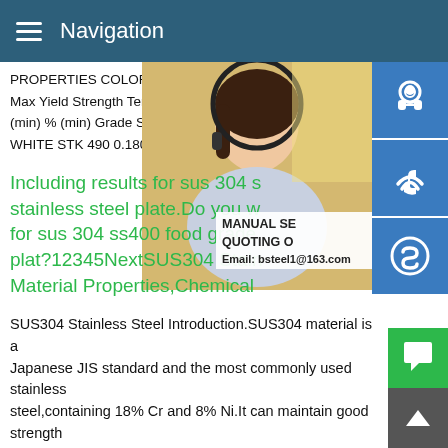Navigation
PROPERTIES COLOR CODE C Max Si M
Max Yield Strength Tensile Strength Mater
(min) % (min) Grade STK 400 0.250 - - 0.0
WHITE STK 490 0.180 0.550 1.500 0.040
Including results for sus 304 s stainless steel plate.Do you w for sus 304 ss400 food grade plat?12345NextSUS304 Stain Material Properties,Chemical
[Figure (photo): Woman with headset, customer service representative]
MANUAL SE
QUOTING O
Email: bsteel1@163.com
SUS304 Stainless Steel Introduction.SUS304 material is a Japanese JIS standard and the most commonly used stainless steel,containing 18% Cr and 8% Ni.It can maintain good strength and heat resistance in high temperature and low temperature environments,and also has good corrosion resistance,weldability,cold workability and mechanical properti